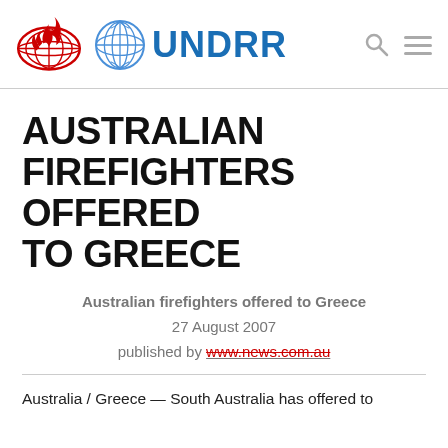UNDRR (logo with ISDR and UN emblems)
AUSTRALIAN FIREFIGHTERS OFFERED TO GREECE
Australian firefighters offered to Greece
27 August 2007
published by www.news.com.au
Australia / Greece — South Australia has offered to